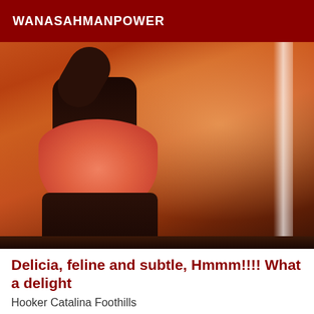WANASAHMANPOWER
[Figure (photo): A person wearing orange/red shorts photographed from behind against a warm orange-toned background, with a white vertical strip on the right side.]
Delicia, feline and subtle, Hmmm!!!! What a delight
Hooker Catalina Foothills